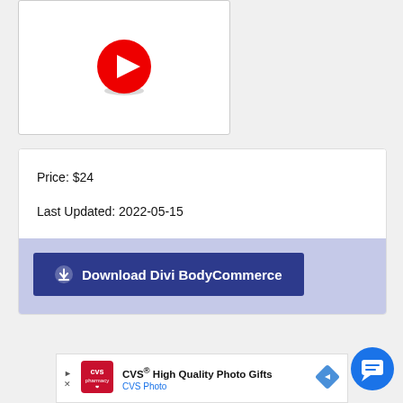[Figure (screenshot): Video thumbnail with red YouTube-style play button on white background]
Price: $24
Last Updated: 2022-05-15
[Figure (screenshot): Blue download button labeled 'Download Divi BodyCommerce' with download icon, on lavender background]
[Figure (screenshot): CVS advertisement banner: CVS High Quality Photo Gifts / CVS Photo]